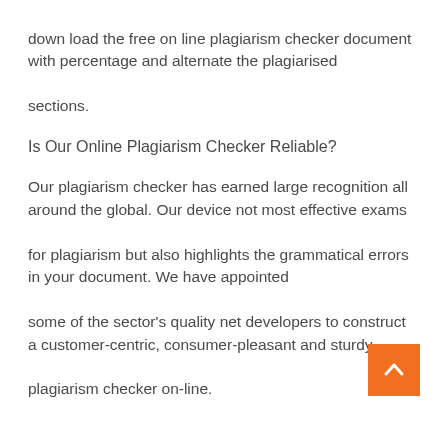down load the free on line plagiarism checker document with percentage and alternate the plagiarised sections.
Is Our Online Plagiarism Checker Reliable?
Our plagiarism checker has earned large recognition all around the global. Our device not most effective exams for plagiarism but also highlights the grammatical errors in your document. We have appointed some of the sector's quality net developers to construct a customer-centric, consumer-pleasant and sturdy plagiarism checker on-line.